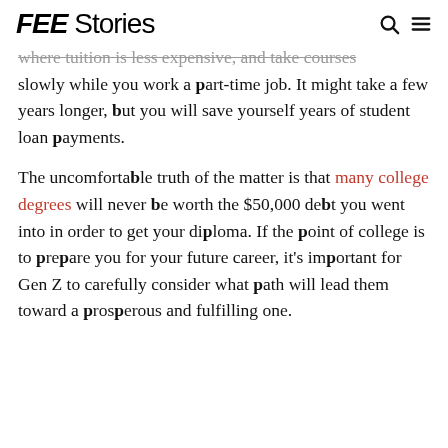FEE Stories
where tuition is less expensive, and take courses slowly while you work a part-time job. It might take a few years longer, but you will save yourself years of student loan payments.

The uncomfortable truth of the matter is that many college degrees will never be worth the $50,000 debt you went into in order to get your diploma. If the point of college is to prepare you for your future career, it's important for Gen Z to carefully consider what path will lead them toward a prosperous and fulfilling one.